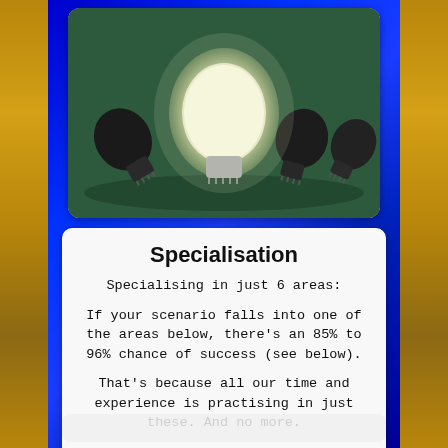[Figure (photo): Photo of several lightbulbs lying on a green surface, with one glowing white bulb standing upright in the center, surrounded by dark unlit bulbs]
Specialisation
Specialising in just 6 areas:
If your scenario falls into one of the areas below, there’s an 85% to 96% chance of success (see below).
That’s because all our time and experience is practising in just these. And no more.